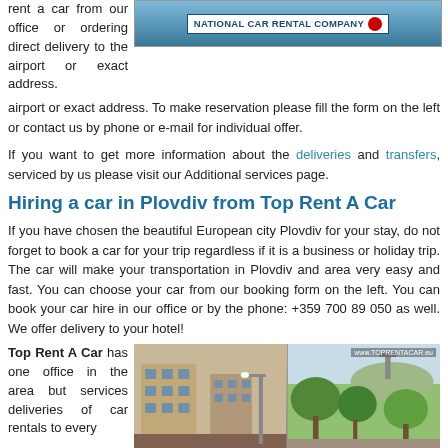rent a car from our office or ordering direct delivery to the airport or exact address. To make reservation please fill the form on the left or contact us by phone or e-mail for individual offer.
[Figure (photo): National Car Rental Company banner/advertisement image with landscape background]
If you want to get more information about the deliveries and transfers, serviced by us please visit our Additional services page.
Hiring a car in Plovdiv from Top Rent A Car
If you have chosen the beautiful European city Plovdiv for your stay, do not forget to book a car for your trip regardless if it is a business or holiday trip. The car will make your transportation in Plovdiv and area very easy and fast. You can choose your car from our booking form on the left. You can book your car hire in our office or by the phone: +359 700 89 050 as well. We offer delivery to your hotel!
Top Rent A Car has one office in the area but services deliveries of car rentals to every
[Figure (photo): Street view of Plovdiv with buildings and trees, www.TOPRENTACAR.eu watermark]